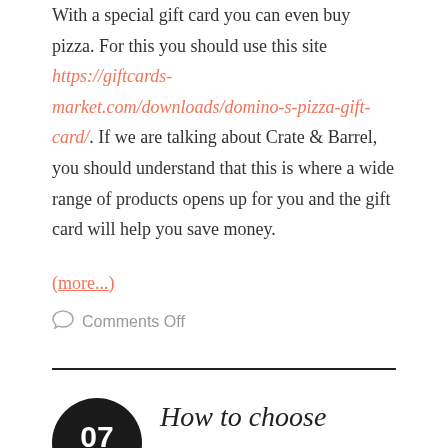With a special gift card you can even buy pizza. For this you should use this site https://giftcards-market.com/downloads/domino-s-pizza-gift-card/. If we are talking about Crate & Barrel, you should understand that this is where a wide range of products opens up for you and the gift card will help you save money.
(more...)
Comments Off
How to choose